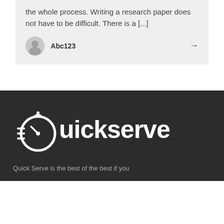the whole process. Writing a research paper does not have to be difficult. There is a [...]
Abc123
[Figure (logo): Quickserve logo: stopwatch icon integrated with the letter Q, white on dark background, with the text 'Quickserve']
Quick Serve is the best of the best if you